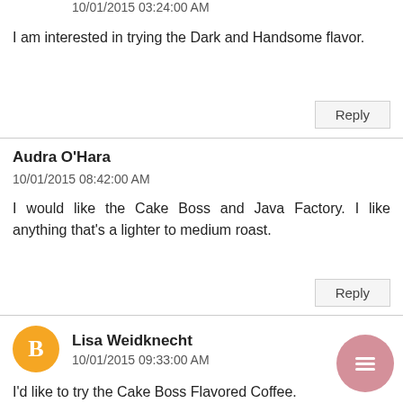10/01/2015 03:24:00 AM
I am interested in trying the Dark and Handsome flavor.
Reply
Audra O'Hara
10/01/2015 08:42:00 AM
I would like the Cake Boss and Java Factory. I like anything that's a lighter to medium roast.
Reply
Lisa Weidknecht
10/01/2015 09:33:00 AM
I'd like to try the Cake Boss Flavored Coffee.